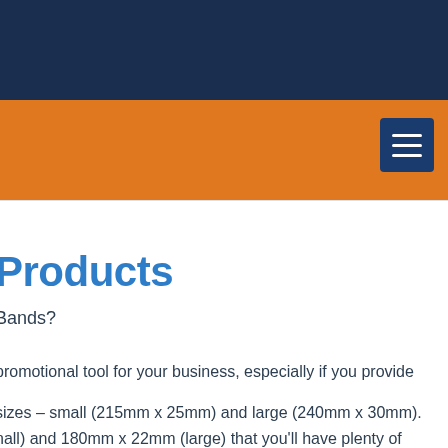[Figure (screenshot): Website header with dark navy background, gray and dark bars at top, orange navigation bar with hamburger menu button]
Products
Bands?
promotional tool for your business, especially if you provide
sizes – small (215mm x 25mm) and large (240mm x 30mm). nall) and 180mm x 22mm (large) that you'll have plenty of